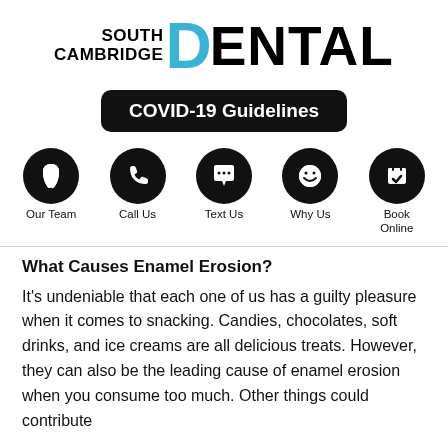[Figure (logo): South Cambridge Dental logo with 'SOUTH CAMBRIDGE' in black bold text and 'DENTAL' in large bold text with 'D' in light blue]
COVID-19 Guidelines
[Figure (infographic): Navigation row with five circular black icons and labels: Our Team (tooth icon), Call Us (phone icon), Text Us (speech bubble icon), Why Us (smiley face icon), Book Online (calendar with checkmark icon)]
What Causes Enamel Erosion?
It's undeniable that each one of us has a guilty pleasure when it comes to snacking. Candies, chocolates, soft drinks, and ice creams are all delicious treats. However, they can also be the leading cause of enamel erosion when you consume too much. Other things could contribute